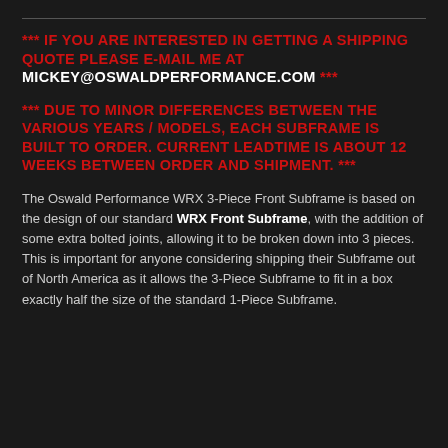*** IF YOU ARE INTERESTED IN GETTING A SHIPPING QUOTE PLEASE E-MAIL ME AT MICKEY@OSWALDPERFORMANCE.COM ***
*** DUE TO MINOR DIFFERENCES BETWEEN THE VARIOUS YEARS / MODELS, EACH SUBFRAME IS BUILT TO ORDER. CURRENT LEADTIME IS ABOUT 12 WEEKS BETWEEN ORDER AND SHIPMENT. ***
The Oswald Performance WRX 3-Piece Front Subframe is based on the design of our standard WRX Front Subframe, with the addition of some extra bolted joints, allowing it to be broken down into 3 pieces. This is important for anyone considering shipping their Subframe out of North America as it allows the 3-Piece Subframe to fit in a box exactly half the size of the standard 1-Piece Subframe.